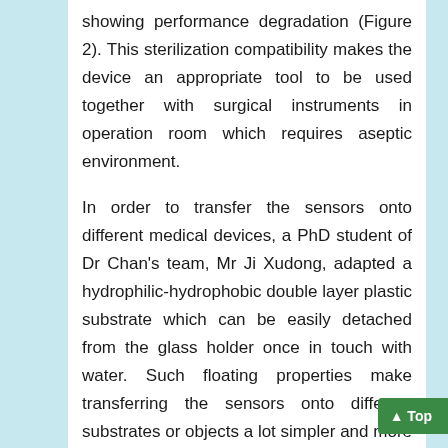showing performance degradation (Figure 2). This sterilization compatibility makes the device an appropriate tool to be used together with surgical instruments in operation room which requires aseptic environment.
In order to transfer the sensors onto different medical devices, a PhD student of Dr Chan's team, Mr Ji Xudong, adapted a hydrophilic-hydrophobic double layer plastic substrate which can be easily detached from the glass holder once in touch with water. Such floating properties make transferring the sensors onto different substrates or objects a lot simpler and more importantly, the device show no performance degradation after transferring among different subjects (Figure 3).